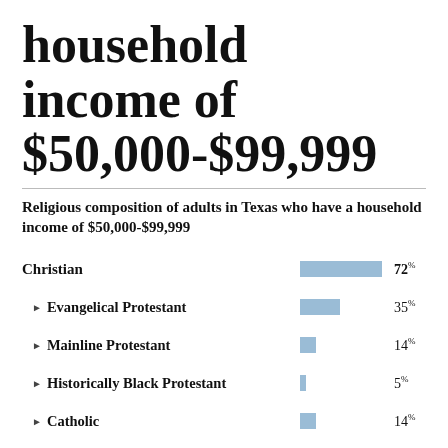household income of $50,000-$99,999
Religious composition of adults in Texas who have a household income of $50,000-$99,999
[Figure (bar-chart): Religious composition of adults in Texas who have a household income of $50,000-$99,999]